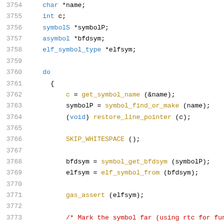Source code listing lines 3754-3774
3754    char *name;
3755    int c;
3756    symbolS *symbolP;
3757    asymbol *bfdsym;
3758    elf_symbol_type *elfsym;
3759
3760    do
3761      {
3762          c = get_symbol_name (&name);
3763          symbolP = symbol_find_or_make (name);
3764          (void) restore_line_pointer (c);
3765
3766          SKIP_WHITESPACE ();
3767
3768          bfdsym = symbol_get_bfdsym (symbolP);
3769          elfsym = elf_symbol_from (bfdsym);
3770
3771          gas_assert (elfsym);
3772
3773          /* Mark the symbol far (using rtc for fun
3774          elfsym->internal_elf_sym.st_other |= mark